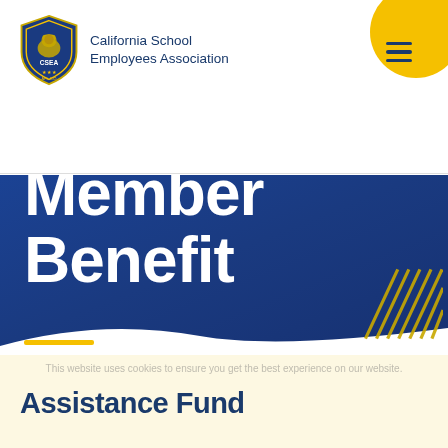[Figure (logo): California School Employees Association (CSEA) shield logo with bear and AFL-CIO text]
California School Employees Association
[Figure (illustration): Yellow circle with dark blue hamburger menu icon in top right corner]
Member Benefit
This website uses cookies to ensure you get the best experience on our website.
Assistance Fund